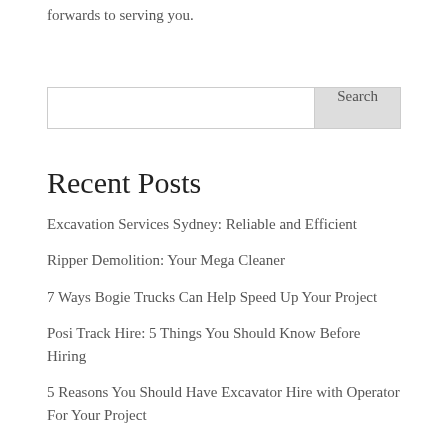forwards to serving you.
Search
Recent Posts
Excavation Services Sydney: Reliable and Efficient
Ripper Demolition: Your Mega Cleaner
7 Ways Bogie Trucks Can Help Speed Up Your Project
Posi Track Hire: 5 Things You Should Know Before Hiring
5 Reasons You Should Have Excavator Hire with Operator For Your Project
Recent Comments